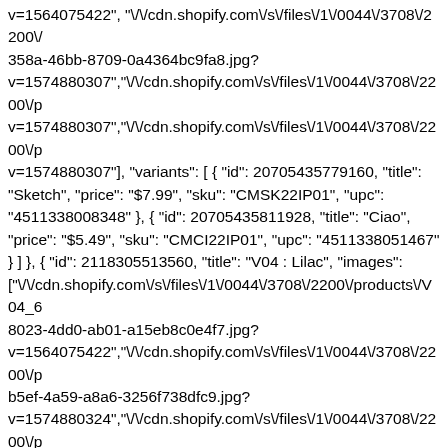v=1564075422", "\/cdn.shopify.com\/s\/files\/1\/0044\/3708\/2200\/p 358a-46bb-8709-0a4364bc9fa8.jpg? v=1574880307","\/cdn.shopify.com\/s\/files\/1\/0044\/3708\/2200\/p v=1574880307","\/cdn.shopify.com\/s\/files\/1\/0044\/3708\/2200\/p v=1574880307"], "variants": [ { "id": 20705435779160, "title": "Sketch", "price": "$7.99", "sku": "CMSK22IP01", "upc": "4511338008348" }, { "id": 20705435811928, "title": "Ciao", "price": "$5.49", "sku": "CMCI22IP01", "upc": "4511338051467" } ] }, { "id": 2118305513560, "title": "V04 : Lilac", "images": ["\/cdn.shopify.com\/s\/files\/1\/0044\/3708\/2200\/products\/V04_6 8023-4dd0-ab01-a15eb8c0e4f7.jpg? v=1564075422","\/cdn.shopify.com\/s\/files\/1\/0044\/3708\/2200\/p b5ef-4a59-a8a6-3256f738dfc9.jpg? v=1574880324","\/cdn.shopify.com\/s\/files\/1\/0044\/3708\/2200\/p v=1574880324","\/cdn.shopify.com\/s\/files\/1\/0044\/3708\/2200\/p v=1574880324","\/cdn.shopify.com\/s\/files\/1\/0044\/3708\/2200\/p v=1574880324"], "variants": [ { "id": 20705435844696, "title": "Sketch", "price": "$7.99", "sku": "CMSK22IP04", "upc": "4511338003381" }, { "id": 20705435877464, "title": "Classic", "price": "$7.99", "sku": "CMCL22IP04", "upc": "4511338001660" }, { "id": 20705435910232, "title": "Ciao", "price": "$5.49", "sku": "CMCI22IP04", "upc": "4511338007570" } ] }, { "id": 2118305546328, "title": "V05 : Azalea", "images": ["\/cdn.shopify.com\/s\/files\/1\/0044\/3708\/2200\/products\/V05_a e1b5-43ee-9511-5560b984b33a.jpg? v=1564075422","\/cdn.shopify.com\/s\/files\/1\/0044\/3708\/2200